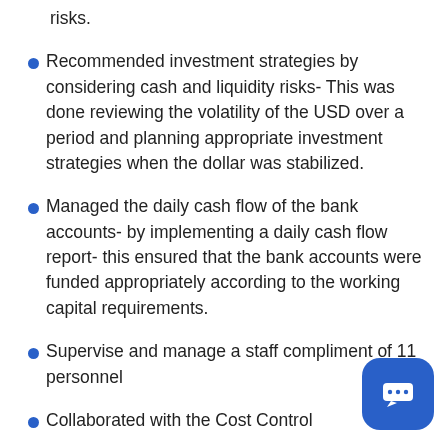risks.
Recommended investment strategies by considering cash and liquidity risks- This was done reviewing the volatility of the USD over a period and planning appropriate investment strategies when the dollar was stabilized.
Managed the daily cash flow of the bank accounts- by implementing a daily cash flow report- this ensured that the bank accounts were funded appropriately according to the working capital requirements.
Supervise and manage a staff compliment of 11 personnel
Collaborated with the Cost Control